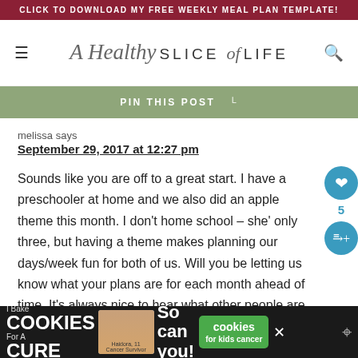CLICK TO DOWNLOAD MY FREE WEEKLY MEAL PLAN TEMPLATE!
[Figure (logo): A Healthy Slice of Life blog logo with script and sans-serif lettering]
PIN THIS POST
melissa says
September 29, 2017 at 12:27 pm
Sounds like you are off to a great start. I have a preschooler at home and we also did an apple theme this month. I don't home school – she' only three, but having a theme makes planning our days/week fun for both of us. Will you be letting us know what your plans are for each month ahead of time. It's always nice to hear what other people are doing for inspiration.
[Figure (infographic): Cookie advertisement banner: I Bake COOKIES For A CURE with image of child and cookies for kids cancer logo]